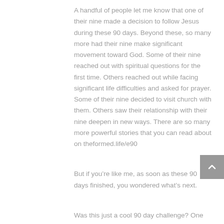A handful of people let me know that one of their nine made a decision to follow Jesus during these 90 days. Beyond these, so many more had their nine make significant movement toward God. Some of their nine reached out with spiritual questions for the first time. Others reached out while facing significant life difficulties and asked for prayer. Some of their nine decided to visit church with them. Others saw their relationship with their nine deepen in new ways. There are so many more powerful stories that you can read about on theformed.life/e90
But if you’re like me, as soon as these 90 days finished, you wondered what’s next.
Was this just a cool 90 day challenge? One more